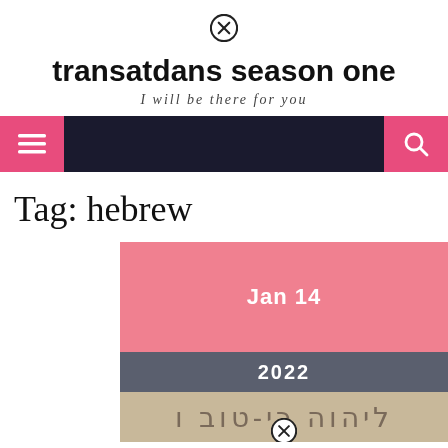[Figure (other): Close/cancel circular icon (X in circle) at top center of page]
transatdans season one
I will be there for you
[Figure (other): Navigation bar with dark background, pink hamburger menu button on left, pink search button on right]
Tag: hebrew
[Figure (other): Blog post card partially visible, showing pink date area with 'Jan 14', dark gray year band '2022', and partial thumbnail with Hebrew text on tan/beige background]
[Figure (other): Close/cancel circular icon (X in circle) at bottom of card]